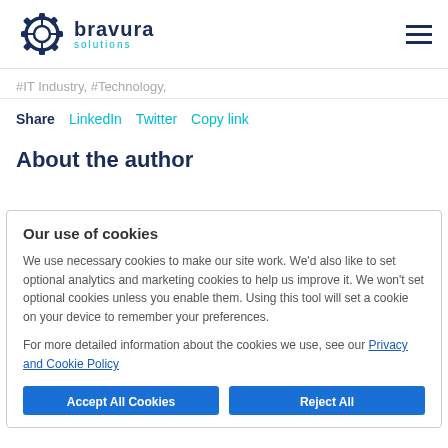[Figure (logo): Bravura Solutions logo with gear icon, 'bravura' in dark navy, 'solutions' in teal below]
#IT Industry, #Technology,
Share  LinkedIn  Twitter  Copy link
About the author
Our use of cookies
We use necessary cookies to make our site work. We'd also like to set optional analytics and marketing cookies to help us improve it. We won't set optional cookies unless you enable them. Using this tool will set a cookie on your device to remember your preferences.
For more detailed information about the cookies we use, see our Privacy and Cookie Policy
Accept All Cookies
Reject All